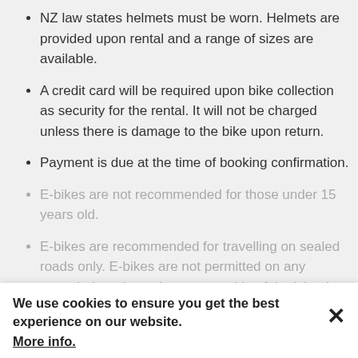NZ law states helmets must be worn. Helmets are provided upon rental and a range of sizes are available.
A credit card will be required upon bike collection as security for the rental. It will not be charged unless there is damage to the bike upon return.
Payment is due at the time of booking confirmation.
E-bikes are not recommended for those under 15 years old.
E-bikes are recommended for travelling on sealed roads only. E-bikes are not permitted on any unsealed roads on the eastern side of the island, including Orapiu, Man-O-War and Stoney Batter.
We use cookies to ensure you get the best experience on our website. More info.